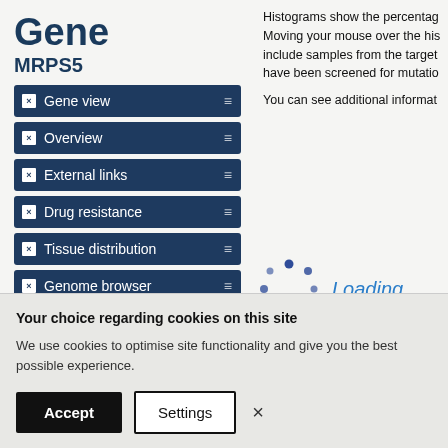Gene
MRPS5
Gene view
Overview
External links
Drug resistance
Tissue distribution
Genome browser
Mutation distribution
Histograms show the percentage Moving your mouse over the his include samples from the target have been screened for mutatio
You can see additional informat
[Figure (other): Loading spinner animation with dots in circular arrangement and 'Loading...' text]
Your choice regarding cookies on this site
We use cookies to optimise site functionality and give you the best possible experience.
Accept | Settings | ×